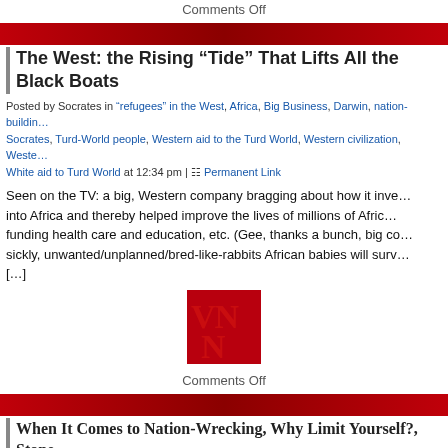Comments Off
[Figure (logo): VNN logo - red background with VN/N letters]
Comments Off
The West: the Rising “Tide” That Lifts All the Black Boats
Posted by Socrates in “refugees” in the West, Africa, Big Business, Darwin, nation-building, Socrates, Turd-World people, Western aid to the Turd World, Western civilization, Weste..., White aid to Turd World at 12:34 pm | Permanent Link
Seen on the TV: a big, Western company bragging about how it inve... into Africa and thereby helped improve the lives of millions of Afric... funding health care and education, etc. (Gee, thanks a bunch, big co... sickly, unwanted/unplanned/bred-like-rabbits African babies will surv... [...]
[Figure (logo): VNN logo - red background with VN/N letters]
Comments Off
When It Comes to Nation-Wrecking, Why Limit Yourself?, Stone
Posted by Socrates in “refugees” in the West, 'Middle East', globalization, intervent... isolationism, nation-building/nation-wrecking, refujihadists, Socrates, Syria, War On Israe... pm | Permanent Link